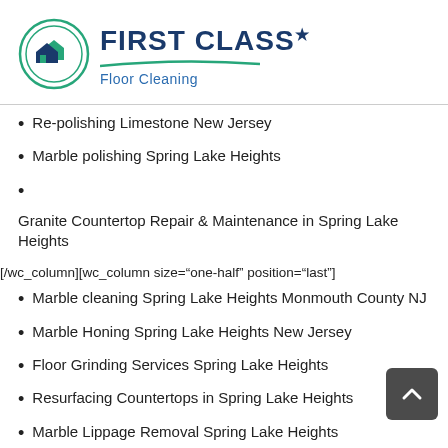[Figure (logo): First Class Floor Cleaning logo with circular icon showing houses and a green swoosh underline beneath the brand name]
Re-polishing Limestone New Jersey
Marble polishing Spring Lake Heights
Granite Countertop Repair & Maintenance in Spring Lake Heights
[/wc_column][wc_column size="one-half" position="last"]
Marble cleaning Spring Lake Heights Monmouth County NJ
Marble Honing Spring Lake Heights New Jersey
Floor Grinding Services Spring Lake Heights
Resurfacing Countertops in Spring Lake Heights
Marble Lippage Removal Spring Lake Heights